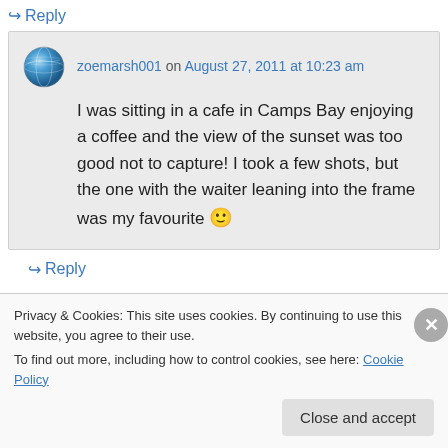↳ Reply
zoemarsh001 on August 27, 2011 at 10:23 am
I was sitting in a cafe in Camps Bay enjoying a coffee and the view of the sunset was too good not to capture! I took a few shots, but the one with the waiter leaning into the frame was my favourite 🙂
↳ Reply
Privacy & Cookies: This site uses cookies. By continuing to use this website, you agree to their use.
To find out more, including how to control cookies, see here: Cookie Policy